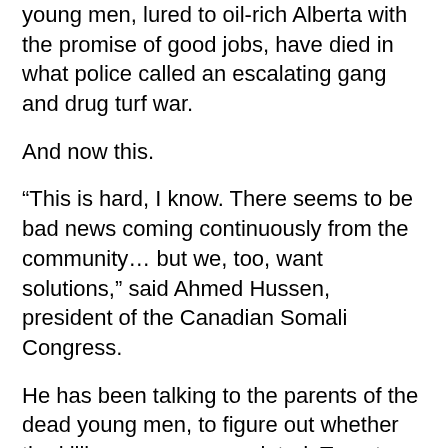young men, lured to oil-rich Alberta with the promise of good jobs, have died in what police called an escalating gang and drug turf war.
And now this.
“This is hard, I know. There seems to be bad news coming continuously from the community… but we, too, want solutions,” said Ahmed Hussen, president of the Canadian Somali Congress.
He has been talking to the parents of the dead young men, to figure out whether the killings were gang-related. Toronto Police detectives have refused to comment.
“We were able to turn Alberta around,” said Hussen. “Hopefully, we can do it here too, with everyone’s help.”
Warsame, who is usually soft-spoken, said his